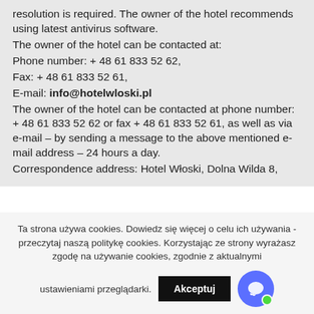resolution is required. The owner of the hotel recommends using latest antivirus software. The owner of the hotel can be contacted at: Phone number: + 48 61 833 52 62, Fax: + 48 61 833 52 61, E-mail: info@hotelwloski.pl The owner of the hotel can be contacted at phone number: + 48 61 833 52 62 or fax + 48 61 833 52 61, as well as via e-mail – by sending a message to the above mentioned e-mail address – 24 hours a day. Correspondence address: Hotel Włoski, Dolna Wilda 8,
Ta strona używa cookies. Dowiedz się więcej o celu ich używania - przeczytaj naszą politykę cookies. Korzystając ze strony wyrażasz zgodę na używanie cookies, zgodnie z aktualnymi ustawieniami przeglądarki.